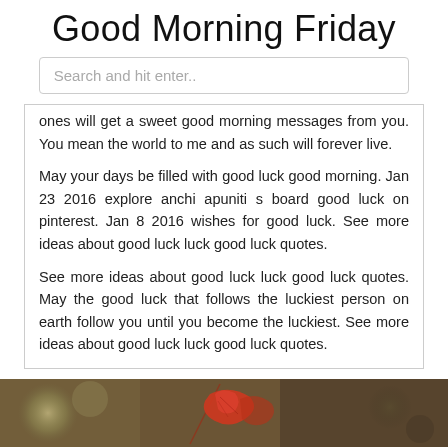Good Morning Friday
Search and hit enter..
ones will get a sweet good morning messages from you. You mean the world to me and as such will forever live.
May your days be filled with good luck good morning. Jan 23 2016 explore anchi apuniti s board good luck on pinterest. Jan 8 2016 wishes for good luck. See more ideas about good luck luck good luck quotes.
See more ideas about good luck luck good luck quotes. May the good luck that follows the luckiest person on earth follow you until you become the luckiest. See more ideas about good luck luck good luck quotes.
[Figure (photo): Close-up photo of a red autumn leaf against a blurred bokeh background with green and dark tones]